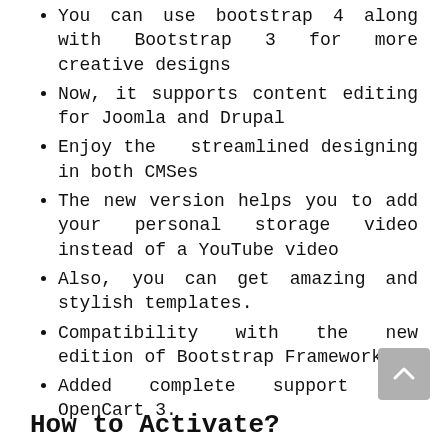You can use bootstrap 4 along with Bootstrap 3 for more creative designs
Now, it supports content editing for Joomla and Drupal
Enjoy the  streamlined designing in both CMSes
The new version helps you to add your personal storage video instead of a YouTube video
Also, you can get amazing and stylish templates.
Compatibility with the new edition of Bootstrap Framework.
Added complete support for OpenCart 3.
How to Activate?